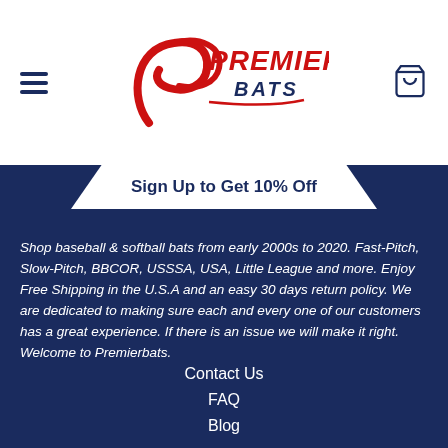Premier Bats
Sign Up to Get 10% Off
Shop baseball & softball bats from early 2000s to 2020. Fast-Pitch, Slow-Pitch, BBCOR, USSSA, USA, Little League and more. Enjoy Free Shipping in the U.S.A and an easy 30 days return policy. We are dedicated to making sure each and every one of our customers has a great experience. If there is an issue we will make it right. Welcome to Premierbats.
Contact Us
FAQ
Blog